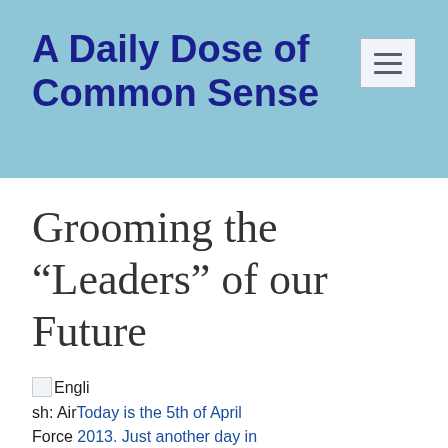A Daily Dose of Common Sense
Grooming the “Leaders” of our Future
English: AirToday is the 5th of April Force 2013. Just another day in